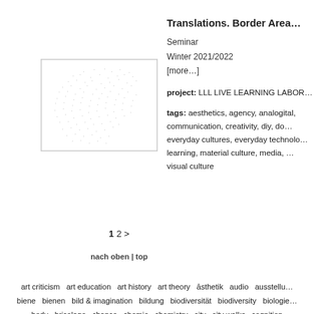[Figure (scatter-plot): A scattered plot/pattern of small dots and dashes arranged randomly within a bordered rectangle, resembling scattered text or particles.]
Translations. Border Area…
Seminar
Winter 2021/2022
[more…]
project: LLL LIVE LEARNING LABOR…
tags: aesthetics, agency, analogital, communication, creativity, diy, do… everyday cultures, everyday technolo… learning, material culture, media, … visual culture
1 2 >
nach oben | top
art criticism  art education  art history  art theory  āsthetik  audio  ausstellu… biene  bienen  bild & imagination  bildung  biodiversität  biodiversity  biologie… body  bricolage  chance  chemie  chemistry  city  city walks  cognition